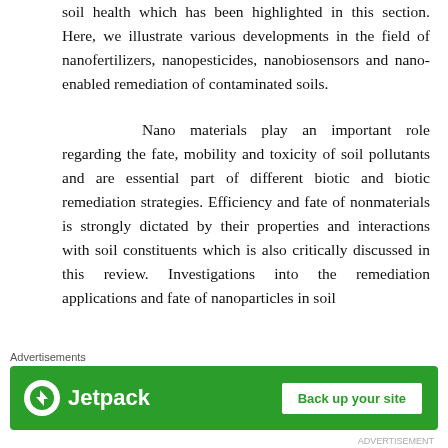soil health which has been highlighted in this section. Here, we illustrate various developments in the field of nanofertilizers, nanopesticides, nanobiosensors and nano-enabled remediation of contaminated soils.
Nano materials play an important role regarding the fate, mobility and toxicity of soil pollutants and are essential part of different biotic and biotic remediation strategies. Efficiency and fate of nonmaterials is strongly dictated by their properties and interactions with soil constituents which is also critically discussed in this review. Investigations into the remediation applications and fate of nanoparticles in soil
Advertisements
[Figure (other): Jetpack advertisement banner with green background. Shows Jetpack logo with lightning bolt icon on the left and a 'Back up your site' button on the right.]